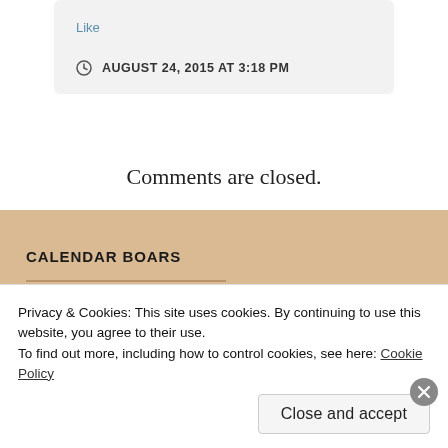Like
AUGUST 24, 2015 AT 3:18 PM
Comments are closed.
CALENDAR BOARS
Privacy & Cookies: This site uses cookies. By continuing to use this website, you agree to their use. To find out more, including how to control cookies, see here: Cookie Policy
Close and accept